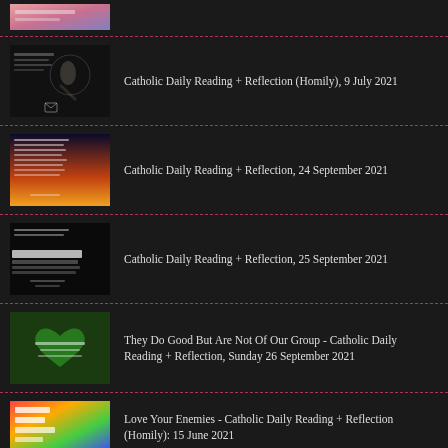(partial top item image)
Catholic Daily Reading + Reflection (Homily), 9 July 2021
Catholic Daily Reading + Reflection, 24 September 2021
Catholic Daily Reading + Reflection, 25 September 2021
They Do Good But Are Not Of Our Group - Catholic Daily Reading + Reflection, Sunday 26 September 2021
Love Your Enemies - Catholic Daily Reading + Reflection (Homily): 15 June 2021